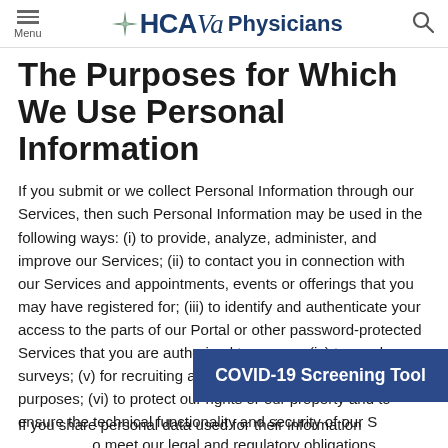Menu | HCAVa Physicians | Search
The Purposes for Which We Use Personal Information
If you submit or we collect Personal Information through our Services, then such Personal Information may be used in the following ways: (i) to provide, analyze, administer, and improve our Services; (ii) to contact you in connection with our Services and appointments, events or offerings that you may have registered for; (iii) to identify and authenticate your access to the parts of our Portal or other password-protected Services that you are authorized to access; (iv) to send you surveys; (v) for recruiting and human resources administration purposes; (vi) to protect our rights or our property and to ensure the technical functionality and security of our Services; and (vii) to meet our legal and regulatory obligations.
If you share personal data used for their information
[Figure (other): COVID-19 Screening Tool button overlay in dark blue]